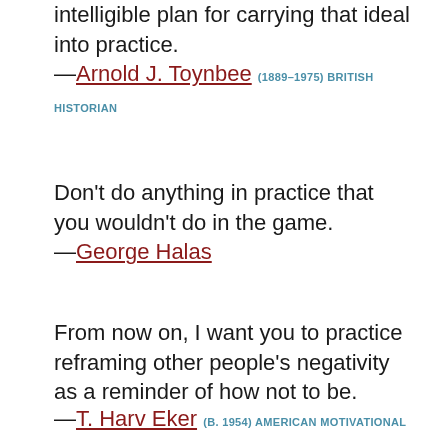intelligible plan for carrying that ideal into practice.
—Arnold J. Toynbee (1889–1975) BRITISH HISTORIAN
Don't do anything in practice that you wouldn't do in the game.
—George Halas
From now on, I want you to practice reframing other people's negativity as a reminder of how not to be.
—T. Harv Eker (B. 1954) AMERICAN MOTIVATIONAL SPEAKER, LECTURER, AUTHOR
And because we are creatures of habit, we